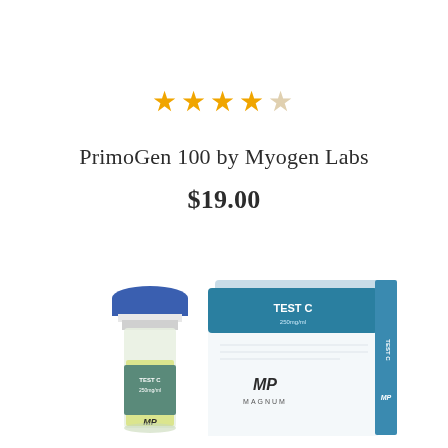[Figure (other): 5-star rating display showing 4 filled stars and 1 empty star in orange/gold color]
PrimoGen 100 by Myogen Labs
$19.00
[Figure (photo): Product photo showing a glass vial with blue cap labeled TEST C and MP, alongside a teal/white product box labeled TEST C with MP Magnum branding]